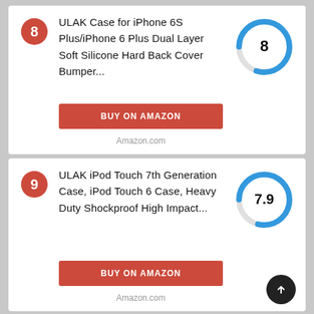8
ULAK Case for iPhone 6S Plus/iPhone 6 Plus Dual Layer Soft Silicone Hard Back Cover Bumper...
[Figure (donut-chart): Score 8]
BUY ON AMAZON
Amazon.com
9
ULAK iPod Touch 7th Generation Case, iPod Touch 6 Case, Heavy Duty Shockproof High Impact...
[Figure (donut-chart): Score 7.9]
BUY ON AMAZON
Amazon.com